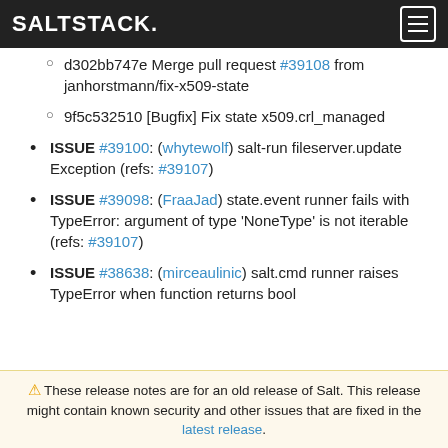SALTSTACK.
d302bb747e Merge pull request #39108 from janhorstmann/fix-x509-state
9f5c532510 [Bugfix] Fix state x509.crl_managed
ISSUE #39100: (whytewolf) salt-run fileserver.update Exception (refs: #39107)
ISSUE #39098: (FraaJad) state.event runner fails with TypeError: argument of type 'NoneType' is not iterable (refs: #39107)
ISSUE #38638: (mirceaulinic) salt.cmd runner raises TypeError when function returns bool
⚠ These release notes are for an old release of Salt. This release might contain known security and other issues that are fixed in the latest release.